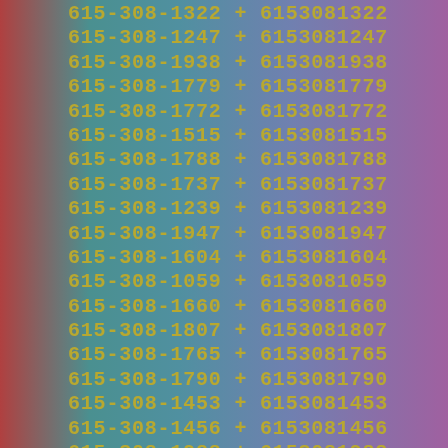615-308-1322 + 6153081322
615-308-1247 + 6153081247
615-308-1938 + 6153081938
615-308-1779 + 6153081779
615-308-1772 + 6153081772
615-308-1515 + 6153081515
615-308-1788 + 6153081788
615-308-1737 + 6153081737
615-308-1239 + 6153081239
615-308-1947 + 6153081947
615-308-1604 + 6153081604
615-308-1059 + 6153081059
615-308-1660 + 6153081660
615-308-1807 + 6153081807
615-308-1765 + 6153081765
615-308-1790 + 6153081790
615-308-1453 + 6153081453
615-308-1456 + 6153081456
615-308-1988 + 6153081988
615-308-1383 + 6153081383
615-308-1206 + 6153081206
615-308-1586 + 6153081586
615-308-1430 + 6153081430